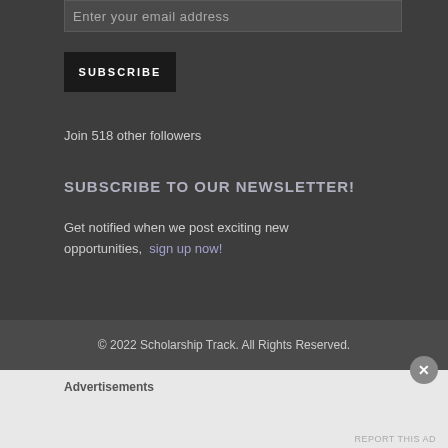Enter your email address
SUBSCRIBE
Join 518 other followers
SUBSCRIBE TO OUR NEWSLETTER!
Get notified when we post exciting new opportunities,  sign up now!
© 2022 Scholarship Track. All Rights Reserved.
Advertisements
REPORT THIS AD